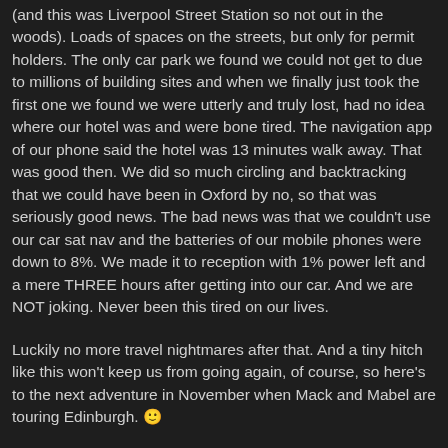(and this was Liverpool Street Station so not out in the woods). Loads of spaces on the streets, but only for permit holders. The only car park we found we could not get to due to millions of building sites and when we finally just took the first one we found we were utterly and truly lost, had no idea where our hotel was and were bone tired. The navigation app of our phone said the hotel was 13 minutes walk away. That was good then. We did so much circling and backtracking that we could have been in Oxford by no, so that was seriously good news. The bad news was that we couldn't use our car sat nav and the batteries of our mobile phones were down to 8%. We made it to reception with 1% power left and a mere THREE hours after getting into our car. And we are NOT joking. Never been this tired on our lives.
Luckily no more travel nightmares after that. And a tiny hitch like this won't keep us from going again, of course, so here's to the next adventure in November when Mack and Mabel are touring Edinburgh. 🙂